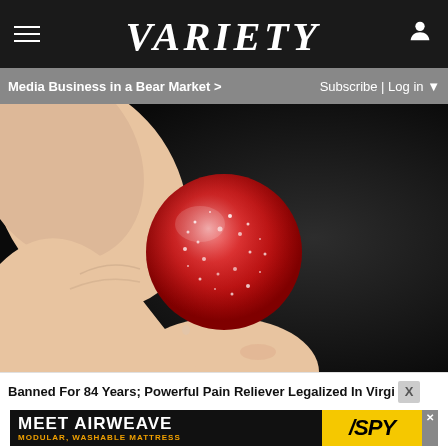VARIETY
Media Business in a Bear Market >
Subscribe | Log in
[Figure (photo): Close-up photo of a hand holding a small red sugar-coated gummy candy against a dark background]
Banned For 84 Years; Powerful Pain Reliever Legalized In Virgi
[Figure (other): Advertisement banner: MEET AIRWEAVE MODULAR, WASHABLE MATTRESS with SPY logo on yellow background]